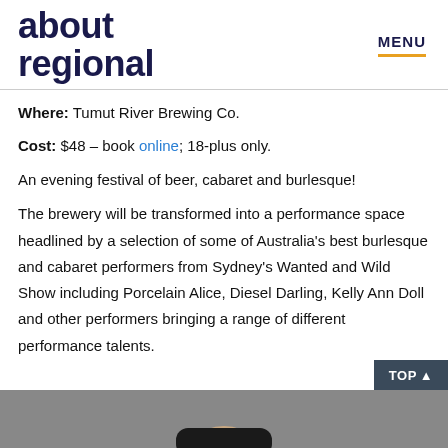about regional | MENU
Where: Tumut River Brewing Co.
Cost: $48 – book online; 18-plus only.
An evening festival of beer, cabaret and burlesque!
The brewery will be transformed into a performance space headlined by a selection of some of Australia's best burlesque and cabaret performers from Sydney's Wanted and Wild Show including Porcelain Alice, Diesel Darling, Kelly Ann Doll and other performers bringing a range of different performance talents.
[Figure (photo): Partial photo of a person at the bottom of the page, cropped, showing head and dark top against grey background]